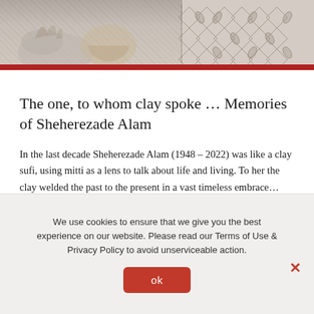[Figure (photo): Black and white photograph showing hands working with clay or fabric, with a decorative patterned textile visible on the right side.]
The one, to whom clay spoke … Memories of Sheherezade Alam
In the last decade Sheherezade Alam (1948 – 2022) was like a clay sufi, using mitti as a lens to talk about life and living. To her the clay welded the past to the present in a vast timeless embrace…
We use cookies to ensure that we give you the best experience on our website. Please read our Terms of Use & Privacy Policy to avoid unserviceable action.